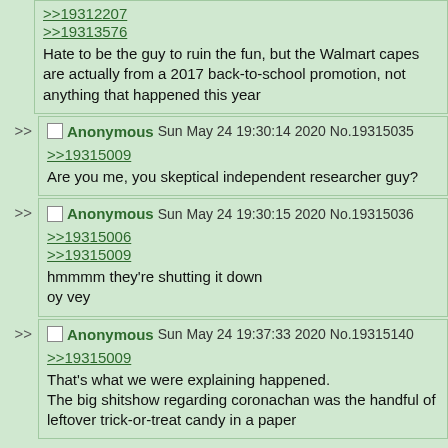>>19312207
>>19313576
Hate to be the guy to ruin the fun, but the Walmart capes are actually from a 2017 back-to-school promotion, not anything that happened this year
Anonymous Sun May 24 19:30:14 2020 No.19315035
>>19315009
Are you me, you skeptical independent researcher guy?
Anonymous Sun May 24 19:30:15 2020 No.19315036
>>19315006
>>19315009
hmmmm they're shutting it down
oy vey
Anonymous Sun May 24 19:37:33 2020 No.19315140
>>19315009
That's what we were explaining happened.
The big shitshow regarding coronachan was the handful of leftover trick-or-treat candy in a paper